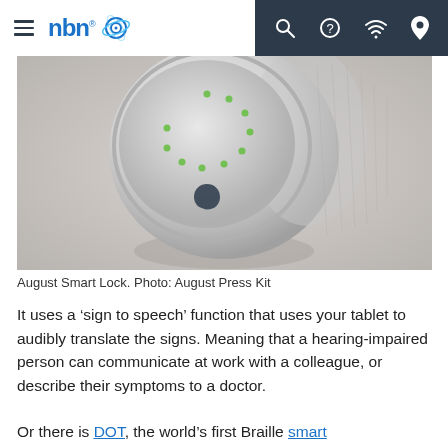nbn logo and navigation bar with hamburger menu, search, help, wifi, and location icons
[Figure (photo): Close-up photo of a silver August Smart Lock device against a light grey background, showing the round metallic disc with LED dots arranged in a circle and the August logo (crescent moon shape) at the bottom center]
August Smart Lock. Photo: August Press Kit
It uses a ‘sign to speech’ function that uses your tablet to audibly translate the signs. Meaning that a hearing-impaired person can communicate at work with a colleague, or describe their symptoms to a doctor.
Or there is DOT, the world’s first Braille smart